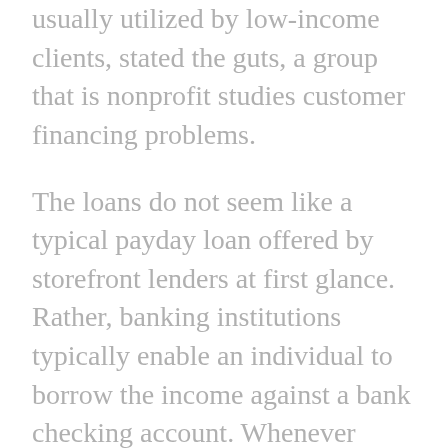usually utilized by low-income clients, stated the guts, a group that is nonprofit studies customer financing problems.
The loans do not seem like a typical payday loan offered by storefront lenders at first glance. Rather, banking institutions typically enable an individual to borrow the income against a bank checking account. Whenever financing payment is born, the financial institution immediately withdraws the money вЂ" the total amount of the mortgage in